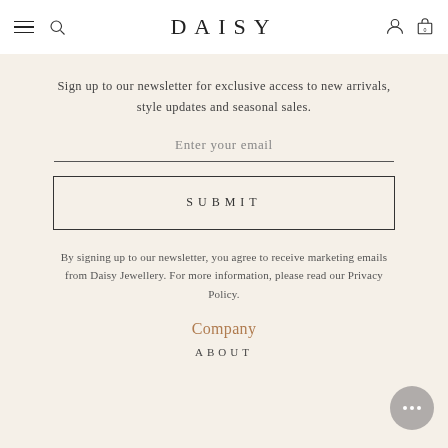DAISY
Sign up to our newsletter for exclusive access to new arrivals, style updates and seasonal sales.
Enter your email
SUBMIT
By signing up to our newsletter, you agree to receive marketing emails from Daisy Jewellery. For more information, please read our Privacy Policy.
Company
ABOUT